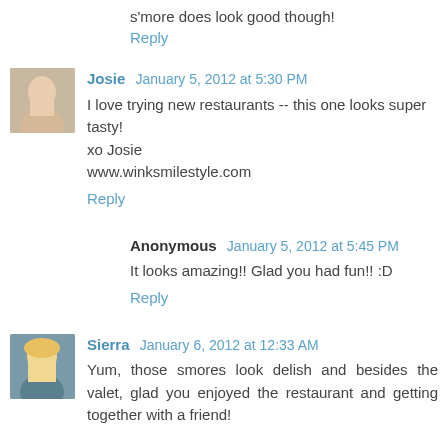s'more does look good though!
Reply
Josie  January 5, 2012 at 5:30 PM
I love trying new restaurants -- this one looks super tasty! xo Josie
www.winksmilestyle.com
Reply
Anonymous  January 5, 2012 at 5:45 PM
It looks amazing!! Glad you had fun!! :D
Reply
Sierra  January 6, 2012 at 12:33 AM
Yum, those smores look delish and besides the valet, glad you enjoyed the restaurant and getting together with a friend!